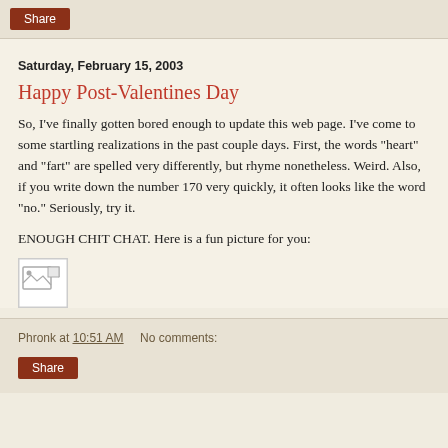Share
Saturday, February 15, 2003
Happy Post-Valentines Day
So, I've finally gotten bored enough to update this web page. I've come to some startling realizations in the past couple days. First, the words "heart" and "fart" are spelled very differently, but rhyme nonetheless. Weird. Also, if you write down the number 170 very quickly, it often looks like the word "no." Seriously, try it.
ENOUGH CHIT CHAT. Here is a fun picture for you:
[Figure (photo): Broken/missing image placeholder]
Phronk at 10:51 AM   No comments:   Share